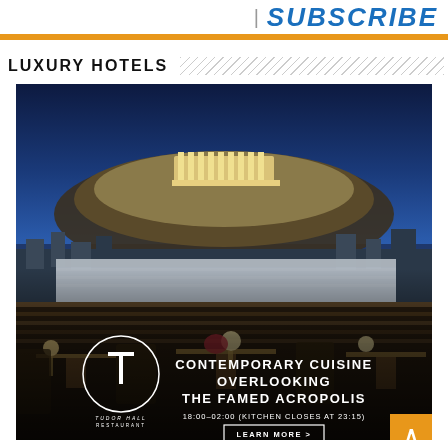SUBSCRIBE
LUXURY HOTELS
[Figure (photo): Night-time rooftop restaurant terrace with elegant furniture and table settings, with the illuminated Acropolis of Athens visible in the background. Overlay shows Tudor Hall Restaurant branding with text: CONTEMPORARY CUISINE OVERLOOKING THE FAMED ACROPOLIS, 18:00–02:00 (KITCHEN CLOSES AT 23:15), LEARN MORE >]